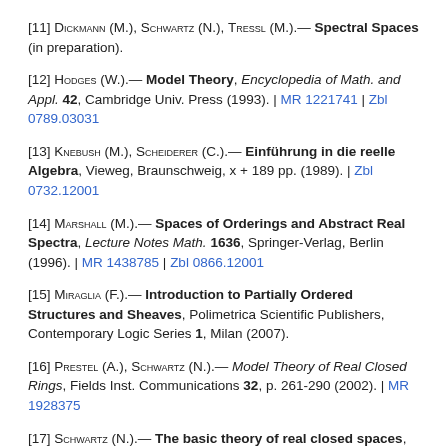[11] Dickmann (M.), Schwartz (N.), Tressl (M.).— Spectral Spaces (in preparation).
[12] Hodges (W.).— Model Theory, Encyclopedia of Math. and Appl. 42, Cambridge Univ. Press (1993). | MR 1221741 | Zbl 0789.03031
[13] Knebush (M.), Scheiderer (C.).— Einführung in die reelle Algebra, Vieweg, Braunschweig, x + 189 pp. (1989). | Zbl 0732.12001
[14] Marshall (M.).— Spaces of Orderings and Abstract Real Spectra, Lecture Notes Math. 1636, Springer-Verlag, Berlin (1996). | MR 1438785 | Zbl 0866.12001
[15] Miraglia (F.).— Introduction to Partially Ordered Structures and Sheaves, Polimetrica Scientific Publishers, Contemporary Logic Series 1, Milan (2007).
[16] Prestel (A.), Schwartz (N.).— Model Theory of Real Closed Rings, Fields Inst. Communications 32, p. 261-290 (2002). | MR 1928375
[17] Schwartz (N.).— The basic theory of real closed spaces, Memoirs Amer. Math. Soc., 397 (1989). | MR 953224 | Zbl